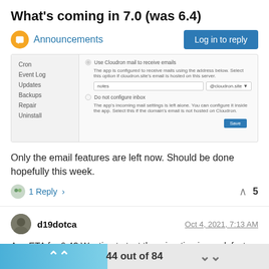What's coming in 7.0 (was 6.4)
Announcements
[Figure (screenshot): Screenshot of a Cloudron app email configuration panel showing sidebar with Cron, Event Log, Updates, Backups, Repair, Uninstall options, and main panel with email inbox settings including a text field with 'notes' and '@cloudron.site' domain, and a Save button.]
Only the email features are left now. Should be done hopefully this week.
1 Reply >
d19dotca
Oct 4, 2021, 7:13 AM
Any ETA for 6.4? Wanting to test the migration issue defect that was identified in https://forum.cloudron.io/topic/5682/deta
44 out of 84